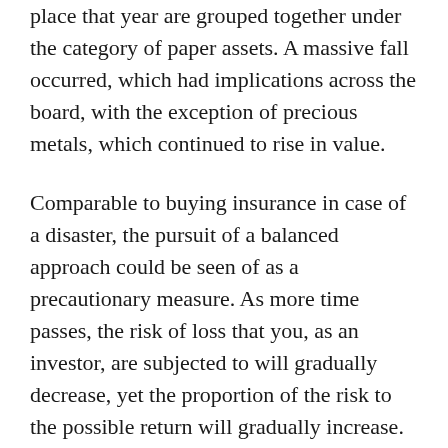place that year are grouped together under the category of paper assets. A massive fall occurred, which had implications across the board, with the exception of precious metals, which continued to rise in value.
Comparable to buying insurance in case of a disaster, the pursuit of a balanced approach could be seen of as a precautionary measure. As more time passes, the risk of loss that you, as an investor, are subjected to will gradually decrease, yet the proportion of the risk to the possible return will gradually increase.
An individual retirement account, often known as an IRA, is an investment vehicle that is intended to be used for the duration of one's working life, and in this context, ...